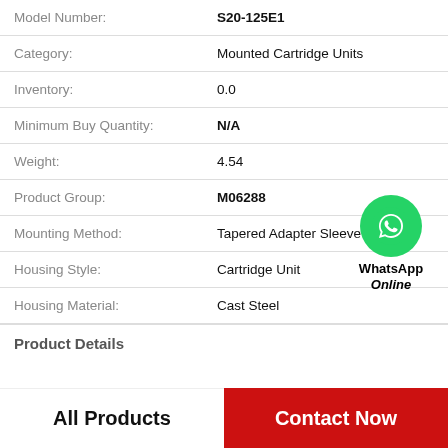| Field | Value |
| --- | --- |
| Model Number: | S20-125E1 |
| Category: | Mounted Cartridge Units |
| Inventory: | 0.0 |
| Minimum Buy Quantity: | N/A |
| Weight: | 4.54 |
| Product Group: | M06288 |
| Mounting Method: | Tapered Adapter Sleeve |
| Housing Style: | Cartridge Unit |
| Housing Material: | Cast Steel |
[Figure (logo): WhatsApp Online green circle icon with phone handset, labeled WhatsApp Online]
Product Details
All Products
Contact Now